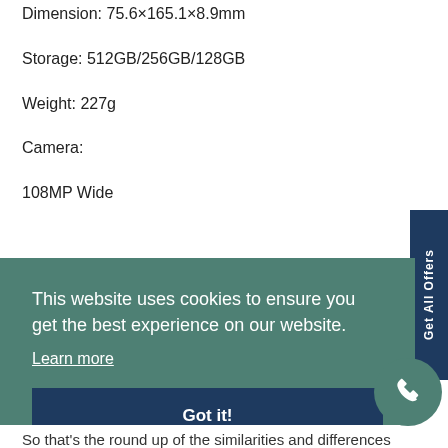Dimension: 75.6×165.1×8.9mm
Storage: 512GB/256GB/128GB
Weight: 227g
Camera:
108MP Wide
This website uses cookies to ensure you get the best experience on our website. Learn more
Got it!
So that's the round up of the similarities and differences